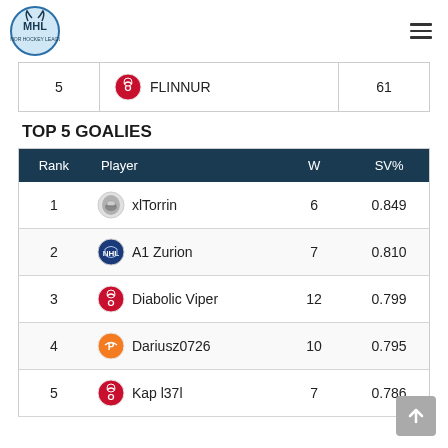MHL logo and navigation
|  | Player |  |
| --- | --- | --- |
| 5 | FLINNUR | 61 |
TOP 5 GOALIES
| Rank | Player | W | SV% |
| --- | --- | --- | --- |
| 1 | xlTorrin | 6 | 0.849 |
| 2 | A1 Zurion | 7 | 0.810 |
| 3 | Diabolic Viper | 12 | 0.799 |
| 4 | Dariusz0726 | 10 | 0.795 |
| 5 | Kap l37l | 7 | 0.786 |